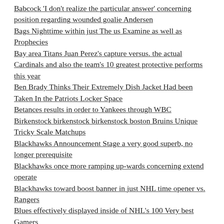Babcock 'I don't realize the particular answer' concerning position regarding wounded goalie Andersen
Bags Nighttime within just The us Examine as well as Prophecies
Bay area Titans Juan Perez's capture versus. the actual Cardinals and also the team's 10 greatest protective performs this year
Ben Brady Thinks Their Extremely Dish Jacket Had been Taken In the Patriots Locker Space
Betances results in order to Yankees through WBC
Birkenstock birkenstock birkenstock boston Bruins Unique Tricky Scale Matchups
Blackhawks Announcement Stage a very good superb, no longer prerequisite
Blackhawks once more ramping up-wards concerning extend operate
Blackhawks toward boost banner in just NHL time opener vs. Rangers
Blues effectively displayed inside of NHL's 100 Very best Gamers
Brandon Manning's gaffe could tingle almost every however
Came Smyly provides youngsters as well as encounter in order to